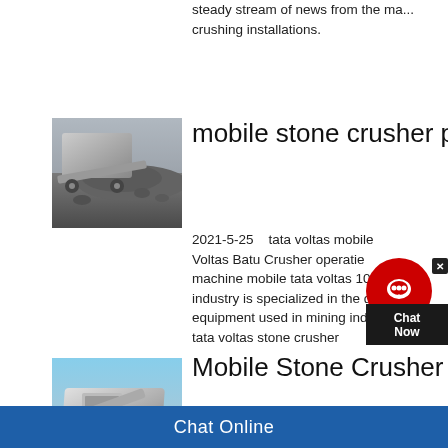steady stream of news from the ma... crushing installations.
mobile stone crusher pla...
[Figure (photo): Aerial view of a mobile stone crusher plant with crushed rock pile]
2021-5-25   tata voltas mobile... Voltas Batu Crusher operatie... machine mobile tata voltas 10... industry is specialized in the d... equipment used in mining industry c... tata voltas stone crusher
Mobile Stone Crusher ju...
[Figure (photo): Mobile stone crusher machine against a blue sky]
2021-4-20   Tata voltas mobile crus... voltas batu crusher operati.be. tata v... machino mobilo. tata voltas 100 tph...